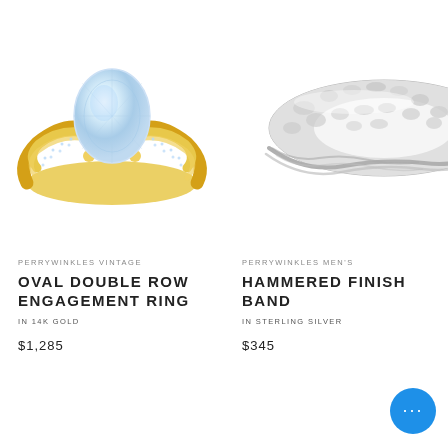[Figure (photo): Oval double row engagement ring in 14K yellow gold with a large oval diamond center stone set in a double pavé band, shown on white background.]
PERRYWINKLES VINTAGE
OVAL DOUBLE ROW ENGAGEMENT RING
IN 14K GOLD
$1,285
[Figure (photo): Hammered finish men's band in sterling silver with a wide hammered top surface and rope-twist sides, shown on white background (partially cropped on right).]
PERRYWINKLES MEN'S
HAMMERED FINISH BAND
IN STERLING SILVER
$345